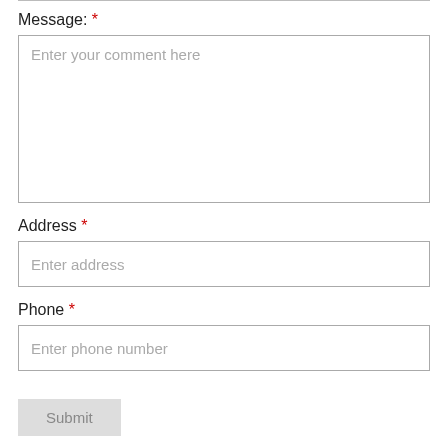Message: *
Enter your comment here
Address *
Enter address
Phone *
Enter phone number
Submit